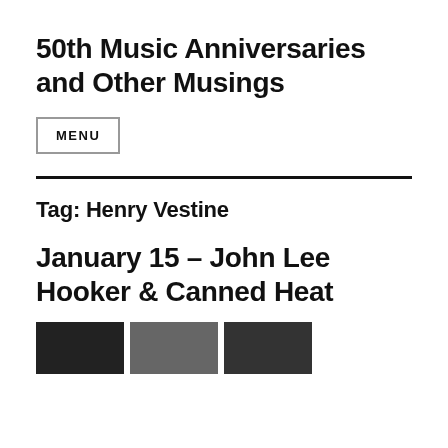50th Music Anniversaries and Other Musings
MENU
Tag: Henry Vestine
January 15 – John Lee Hooker & Canned Heat
[Figure (photo): Three thumbnail images at the bottom of the page]